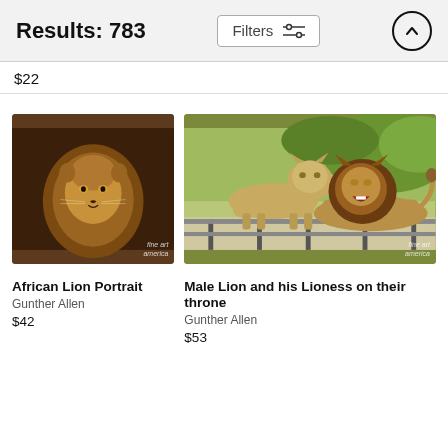Results: 783
$22
[Figure (photo): Close-up portrait of an African lion with a full mane, looking upward against a dark background. Watermark reads 'fine art america'.]
[Figure (photo): A male lion with dark mane lying on a platform with a lioness standing beside him, green trees in background. Watermark reads 'fine art america'.]
African Lion Portrait
Gunther Allen
$42
Male Lion and his Lioness on their throne
Gunther Allen
$53